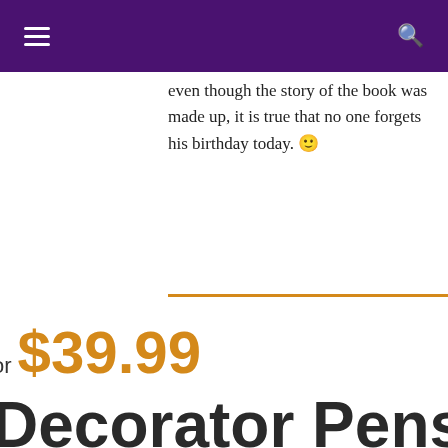Navigation bar with hamburger menu and search icon
even though the story of the book was made up, it is true that no one forgets his birthday today. 🙂
or $39.99
Decorator Pens, A